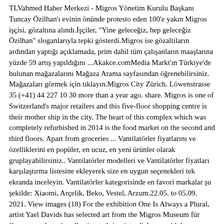TLVahmed Haber Merkezi - Migros Yönetim Kurulu Başkanı Tuncay Özilhan'ı evinin önünde protesto eden 100'e yakın Migros işçisi, gözaltına alındı.İşçiler, "Yine geleceğiz, hep geleceğiz Özilhan" sloganlarıyla tepki gösterdi.Migros ise gözaltıların ardından yaptığı açıklamada, prim dahil tüm çalışanların maaşlarına yüzde 59 artış yapıldığını ...Akakce.comMedia Markt'ın Türkiye'de bulunan mağazalarını Mağaza Arama sayfasından öğrenebilirsiniz. Mağazaları görmek için tıklayın.Migros City Zürich. Löwenstrasse 35 (+41) 44 227 10 30 more than a year ago. share. Migros is one of Switzerland's major retailers and this five-floor shopping centre is their mother ship in the city. The heart of this complex which was completely refurbished in 2014 is the food market on the second and third floors. Apart from groceries ... Vantilatörler fiyatlarını ve özelliklerini en popüler, en ucuz, en yeni ürünler olarak gruplayabilirsiniz.. Vantilatörler modelleri ve Vantilatörler fiyatları karşılaştırma listesine ekleyerek size en uygun seçenekleri tek ekranda inceleyin. Vantilatörler kategorisinde en favori markalar şu şekilde: Xiaomi, Arçelik, Beko, Vestel, Arzum.22.05. to 05.09. 2021. View images (18) For the exhibition One Is Always a Plural, artist Yael Davids has selected art from the Migros Museum für Gegenwartskunst's collection to bring into dialogue with her own works. She engages with the institution and its collection in an unusual manner. The foundational ideas of the Feldenkrais Method ... Migros Commitment – Annual Report 2021. The permanent institution, including the Gottlieb Duttweiler Institute (GDI); Mig...